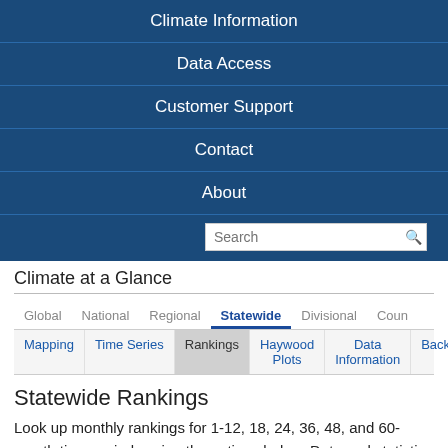Climate Information
Data Access
Customer Support
Contact
About
Climate at a Glance
Global   National   Regional   Statewide   Divisional   Coun
Mapping   Time Series   Rankings   Haywood Plots   Data Information   Background
Statewide Rankings
Look up monthly rankings for 1-12, 18, 24, 36, 48, and 60-month time periods using the options below. Data and statistics are as